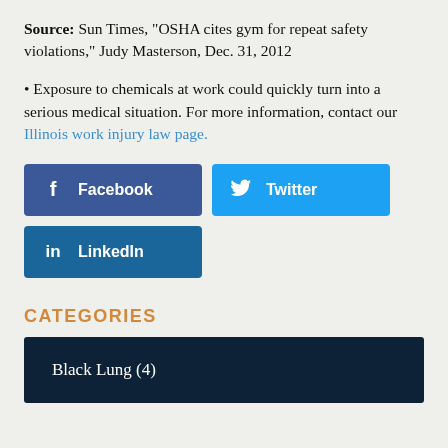Source: Sun Times, “OSHA cites gym for repeat safety violations,” Judy Masterson, Dec. 31, 2012
• Exposure to chemicals at work could quickly turn into a serious medical situation. For more information, contact our Illinois work injury law page.
[Figure (infographic): Three social media share buttons: Facebook (dark blue), Twitter (light blue), LinkedIn (medium blue)]
CATEGORIES
| Black Lung (4) |